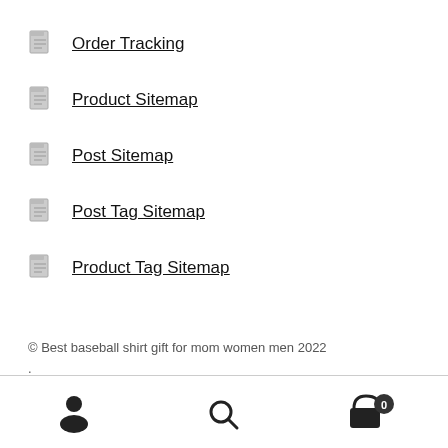Order Tracking
Product Sitemap
Post Sitemap
Post Tag Sitemap
Product Tag Sitemap
© Best baseball shirt gift for mom women men 2022
.